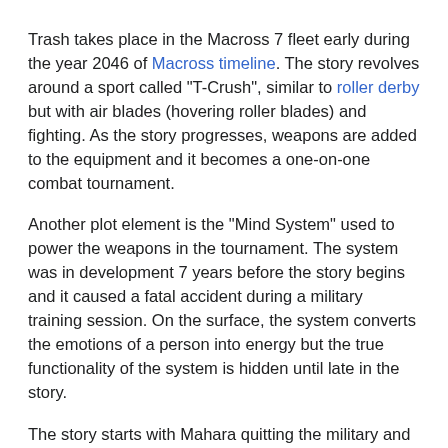Trash takes place in the Macross 7 fleet early during the year 2046 of Macross timeline. The story revolves around a sport called "T-Crush", similar to roller derby but with air blades (hovering roller blades) and fighting. As the story progresses, weapons are added to the equipment and it becomes a one-on-one combat tournament.
Another plot element is the "Mind System" used to power the weapons in the tournament. The system was in development 7 years before the story begins and it caused a fatal accident during a military training session. On the surface, the system converts the emotions of a person into energy but the true functionality of the system is hidden until late in the story.
The story starts with Mahara quitting the military and being asked by Colonel Bacelon to seek out talented people and recruit them as pilots. By chance, she meets Shiba, a T-Crush player, and she becomes the coach of his team. Bacelon supplies the teams with weapons powered with the Mind System and organizes a tournament. Mahara became suspicious of Bacelon's intentions but is forced to cooperate after she was caught breaking into his data files. The team makes their way to the final where the truth is